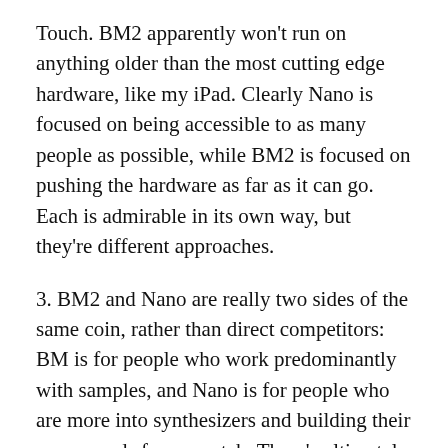Touch. BM2 apparently won't run on anything older than the most cutting edge hardware, like my iPad. Clearly Nano is focused on being accessible to as many people as possible, while BM2 is focused on pushing the hardware as far as it can go. Each is admirable in its own way, but they're different approaches.
3. BM2 and Nano are really two sides of the same coin, rather than direct competitors: BM is for people who work predominantly with samples, and Nano is for people who are more into synthesizers and building their own sounds from scratch. There's ultimately a ton of overlap between the two programs, but that's the ideological difference between the two. Nano's keyboard sampler is still better, with some of the insane modulation options and more complex features, but BM2's drum machine has definitely outpaced Nano's. These